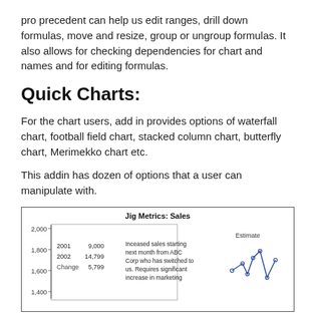pro precedent can help us edit ranges, drill down formulas, move and resize, group or ungroup formulas. It also allows for checking dependencies for chart and names and for editing formulas.
Quick Charts:
For the chart users, add in provides options of waterfall chart, football field chart, stacked column chart, butterfly chart, Merimekko chart etc.
This addin has dozen of options that a user can manipulate with.
[Figure (line-chart): Line chart titled 'Jig Metrics: Sales' showing sales data with 2001=9,000 and 2002=14,799, Change=5,799. Includes annotation about increased sales from ABC Corp. Y-axis from 1,400 to 2,000. An 'Estimate' line is shown on the right side.]